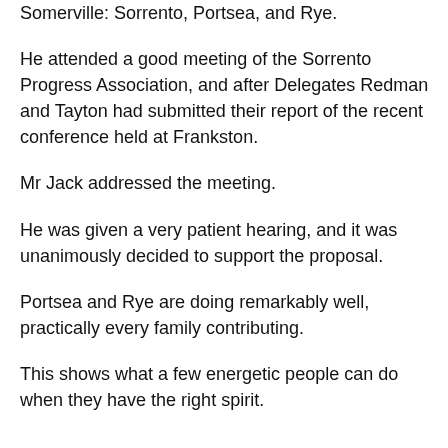Somerville: Sorrento, Portsea, and Rye.
He attended a good meeting of the Sorrento Progress Association, and after Delegates Redman and Tayton had submitted their report of the recent conference held at Frankston.
Mr Jack addressed the meeting.
He was given a very patient hearing, and it was unanimously decided to support the proposal.
Portsea and Rye are doing remarkably well, practically every family contributing.
This shows what a few energetic people can do when they have the right spirit.